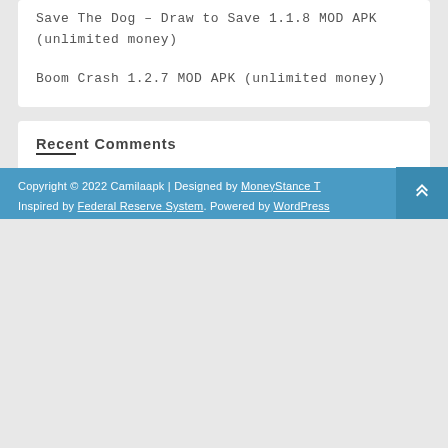Save The Dog – Draw to Save 1.1.8 MOD APK (unlimited money)
Boom Crash 1.2.7 MOD APK (unlimited money)
Recent Comments
A WordPress Commenter on Hello world!
Copyright © 2022 Camilaapk | Designed by MoneyStance T. Inspired by Federal Reserve System. Powered by WordPress